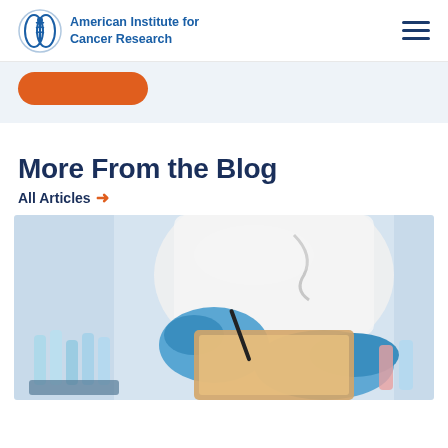American Institute for Cancer Research
[Figure (photo): Orange rounded button/banner element in header area]
More From the Blog
All Articles →
[Figure (photo): Researcher in white lab coat and blue gloves writing on a clipboard, with laboratory test tubes in the foreground]